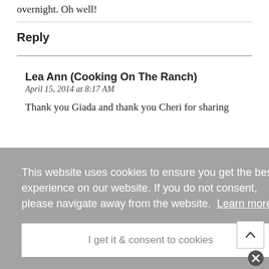overnight. Oh well!
Reply
Lea Ann (Cooking On The Ranch)
April 15, 2014 at 8:17 AM
Thank you Giada and thank you Cheri for sharing
This website uses cookies to ensure you get the best experience on our website. If you do not consent, please navigate away from the website.  Learn more
I get it & consent to cookies